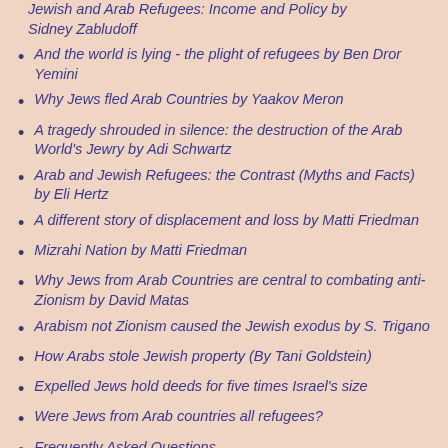Jewish and Arab Refugees: Income and Policy by Sidney Zabludoff
And the world is lying - the plight of refugees by Ben Dror Yemini
Why Jews fled Arab Countries by Yaakov Meron
A tragedy shrouded in silence: the destruction of the Arab World's Jewry by Adi Schwartz
Arab and Jewish Refugees: the Contrast (Myths and Facts) by Eli Hertz
A different story of displacement and loss by Matti Friedman
Mizrahi Nation by Matti Friedman
Why Jews from Arab Countries are central to combating anti-Zionism by David Matas
Arabism not Zionism caused the Jewish exodus by S. Trigano
How Arabs stole Jewish property (By Tani Goldstein)
Expelled Jews hold deeds for five times Israel's size
Were Jews from Arab countries all refugees?
Frequently Asked Questions
Jewish Virtual Library: Fact Sheet